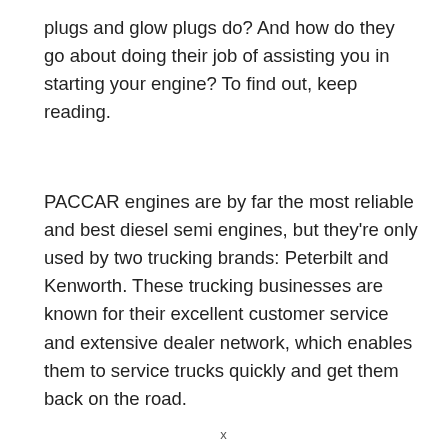plugs and glow plugs do? And how do they go about doing their job of assisting you in starting your engine? To find out, keep reading.
PACCAR engines are by far the most reliable and best diesel semi engines, but they're only used by two trucking brands: Peterbilt and Kenworth. These trucking businesses are known for their excellent customer service and extensive dealer network, which enables them to service trucks quickly and get them back on the road.
x